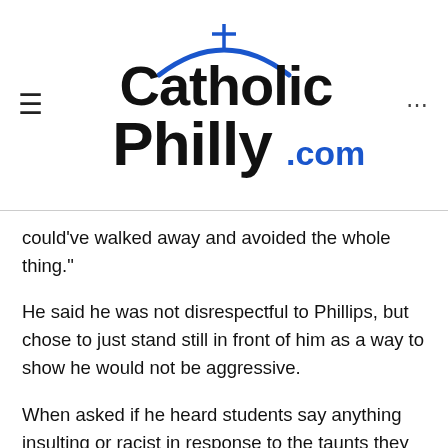[Figure (logo): CatholicPhilly.com logo with cross icon above text, hamburger menu icon on left, ellipsis on right]
could’ve walked away and avoided the whole thing.”
He said he was not disrespectful to Phillips, but chose to just stand still in front of him as a way to show he would not be aggressive.
When asked if he heard students say anything insulting or racist in response to the taunts they received, Sandmann said: “We’re a Catholic school, it’s not tolerated. They don’t tolerate racism and none of my classmates are racist people.”
Phillips responded the next day to this interview, also on the “Today” show, and said he thought Sandmann’s remarks seemed “coached” and that he failed to take responsibility, but he said that it was wrong to have been there with…